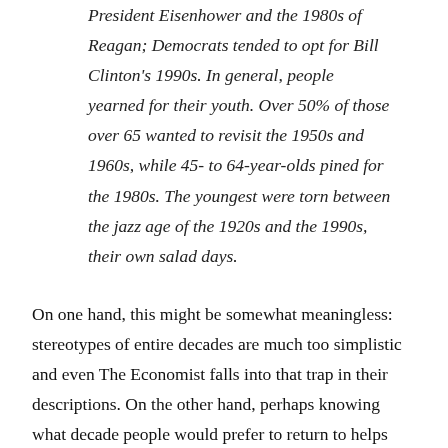President Eisenhower and the 1980s of Reagan; Democrats tended to opt for Bill Clinton's 1990s. In general, people yearned for their youth. Over 50% of those over 65 wanted to revisit the 1950s and 1960s, while 45- to 64-year-olds pined for the 1980s. The youngest were torn between the jazz age of the 1920s and the 1990s, their own salad days.
On one hand, this might be somewhat meaningless: stereotypes of entire decades are much too simplistic and even The Economist falls into that trap in their descriptions. On the other hand, perhaps knowing what decade people would prefer to return to helps give us some indication of what people are trying to accomplish now. If your preferred era is the 1950s, you might pursue